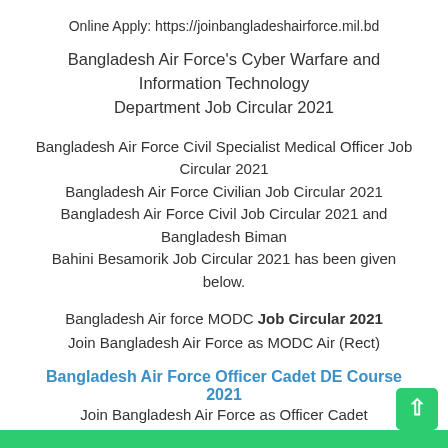Online Apply: https://joinbangladeshairforce.mil.bd
Bangladesh Air Force's Cyber Warfare and Information Technology Department Job Circular 2021
Bangladesh Air Force Civil Specialist Medical Officer Job Circular 2021 Bangladesh Air Force Civilian Job Circular 2021 Bangladesh Air Force Civil Job Circular 2021 and Bangladesh Biman Bahini Besamorik Job Circular 2021 has been given below.
Bangladesh Air force MODC Job Circular 2021 Join Bangladesh Air Force as MODC Air (Rect)
Bangladesh Air Force Officer Cadet DE Course 2021 Join Bangladesh Air Force as Officer Cadet
Bangladesh Air Force Job Application Form Downlaod PDF Are you looking for Bangladesh Air Force Job Application Form? Then you are in right place to download BAF Application Form Download in PDF Format. Bangladesh Biman Bahini application form given